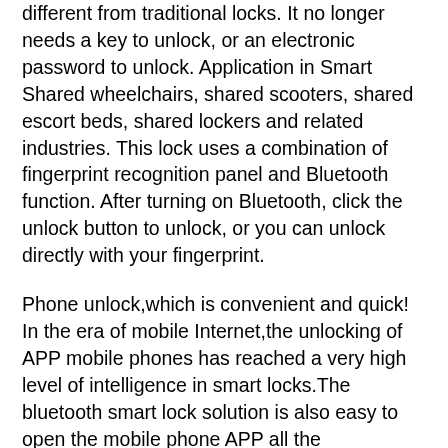different from traditional locks. It no longer needs a key to unlock, or an electronic password to unlock. Application in Smart Shared wheelchairs, shared scooters, shared escort beds, shared lockers and related industries. This lock uses a combination of fingerprint recognition panel and Bluetooth function. After turning on Bluetooth, click the unlock button to unlock, or you can unlock directly with your fingerprint.
Phone unlock,which is convenient and quick! In the era of mobile Internet,the unlocking of APP mobile phones has reached a very high level of intelligence in smart locks.The bluetooth smart lock solution is also easy to open the mobile phone APP all the operations,the emergence of bluetooth lock,all the distance problems,traditional locks can not solve the problem are solved easily. When a visitor needs temporary accommodation,he can authorize the visitor's mobile phone to unlock the door within the